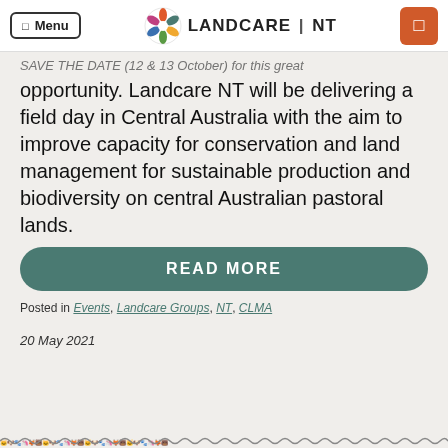Menu | LANDCARE NT
SAVE THE DATE (12 & 13 October) for this great opportunity. Landcare NT will be delivering a field day in Central Australia with the aim to improve capacity for conservation and land management for sustainable production and biodiversity on central Australian pastoral lands.
READ MORE
Posted in Events, Landcare Groups, NT, CLMA
20 May 2021